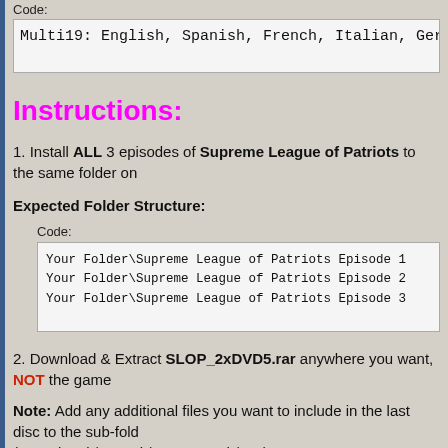Code:
Multi19: English, Spanish, French, Italian, German,
Instructions:
1. Install ALL 3 episodes of Supreme League of Patriots to the same folder on
Expected Folder Structure:
Code:
Your Folder\Supreme League of Patriots Episode 1
Your Folder\Supreme League of Patriots Episode 2
Your Folder\Supreme League of Patriots Episode 3
2. Download & Extract SLOP_2xDVD5.rar anywhere you want, NOT the game
Note: Add any additional files you want to include in the last disc to the sub-fold (Soundtrack/artwork/NoCD Patch/etc.)
3. Run Converter.exe and select the folder where the game is installed
4. Follow the on screen instruction and select the location to create the conversio ISO files should be automatically created and if so where to create them.